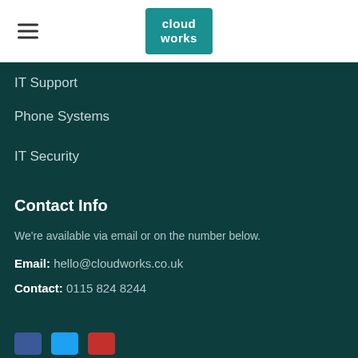[Figure (logo): Cloudworks logo — teal square with white text 'cloud works']
IT Support
Phone Systems
IT Security
Contact Info
We're available via email or on the number below.
Email: hello@cloudworks.co.uk
Contact: 0115 824 8244